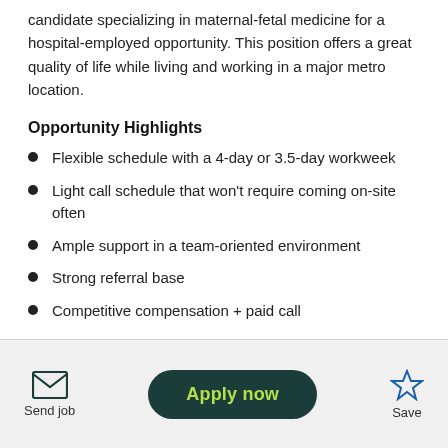candidate specializing in maternal-fetal medicine for a hospital-employed opportunity. This position offers a great quality of life while living and working in a major metro location.
Opportunity Highlights
Flexible schedule with a 4-day or 3.5-day workweek
Light call schedule that won't require coming on-site often
Ample support in a team-oriented environment
Strong referral base
Competitive compensation + paid call
Send job | Apply now | Save